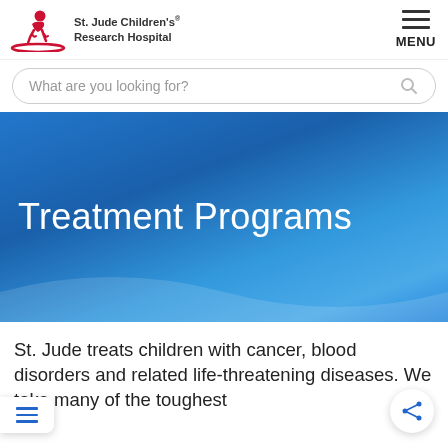[Figure (logo): St. Jude Children's Research Hospital logo with red child figure and text]
St. Jude Children's Research Hospital — MENU navigation header
What are you looking for?
Treatment Programs
St. Jude treats children with cancer, blood disorders and related life-threatening diseases. We take many of the toughest